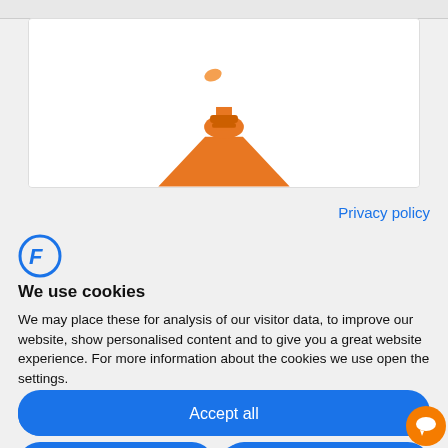[Figure (screenshot): Top navigation bar strip]
[Figure (illustration): Orange lightbulb and person icon on white card background]
Privacy policy
[Figure (logo): Circular F logo in blue]
We use cookies
We may place these for analysis of our visitor data, to improve our website, show personalised content and to give you a great website experience. For more information about the cookies we use open the settings.
Accept all
Deny
No, adjust
[Figure (illustration): Orange chat bubble icon in bottom right corner]